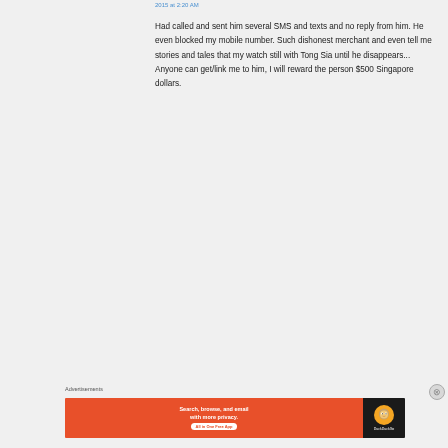2015 at 2:20 AM
Had called and sent him several SMS and texts and no reply from him. He even blocked my mobile number. Such dishonest merchant and even tell me stories and tales that my watch still with Tong Sia until he disappears... Anyone can get/link me to him, I will reward the person $500 Singapore dollars.
Advertisements
[Figure (screenshot): DuckDuckGo advertisement banner: orange left side with text 'Search, browse, and email with more privacy. All in One Free App' and dark right side with DuckDuckGo duck logo]